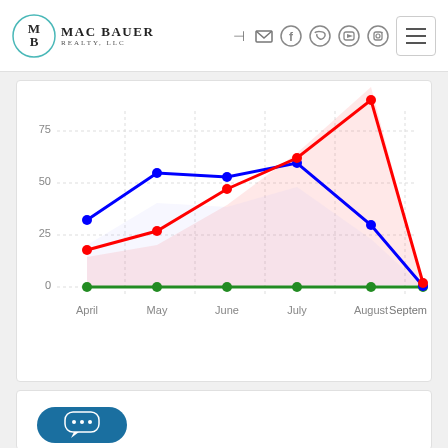[Figure (logo): Mac Bauer Realty LLC logo with MB monogram in teal circle]
[Figure (line-chart): Line chart with three series (blue, red, green)]
[Figure (other): Chat button with speech bubble icon]